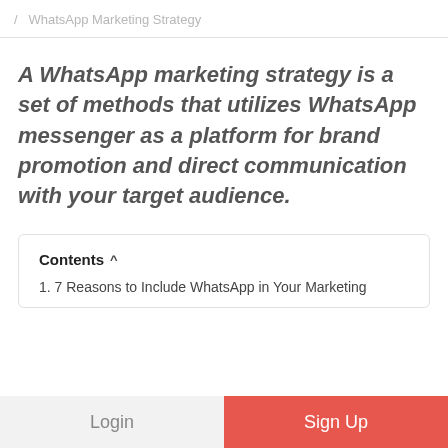/ WhatsApp Marketing Strategy
A WhatsApp marketing strategy is a set of methods that utilizes WhatsApp messenger as a platform for brand promotion and direct communication with your target audience.
Contents ^
1. 7 Reasons to Include WhatsApp in Your Marketing